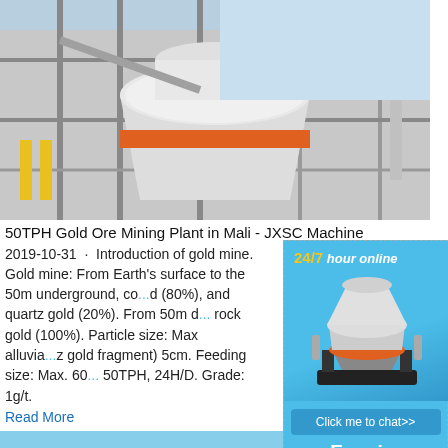[Figure (photo): Industrial mining plant with large cone crusher on elevated platform structure, blue sky background]
50TPH Gold Ore Mining Plant in Mali - JXSC Machine
2019-10-31 · Introduction of gold mine. Gold mine: From Earth's surface to the 50m underground, co...d (80%), and quartz gold (20%). From 50m d... rock gold (100%). Particle size: Max alluvia... z gold fragment) 5cm. Feeding size: Max. 60... 50TPH, 24H/D. Grade: 1g/t.
Read More
[Figure (photo): Open pit quarry with blue mobile crushing equipment and rocky terrain, trees in background]
[Figure (other): Sidebar advertisement: 24/7 hour online, cone crusher image, Click me to chat>> button, Enquiry section, limingjlmofen text]